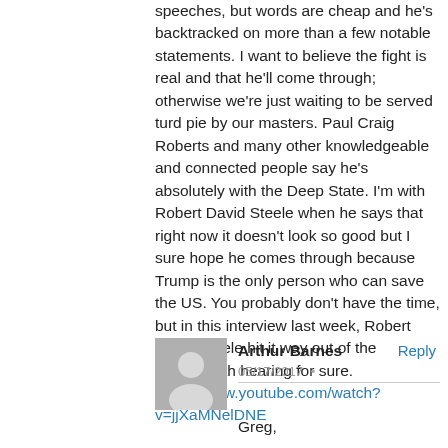speeches, but words are cheap and he's backtracked on more than a few notable statements. I want to believe the fight is real and that he'll come through; otherwise we're just waiting to be served turd pie by our masters. Paul Craig Roberts and many other knowledgeable and connected people say he's absolutely with the Deep State. I’m with Robert David Steele when he says that right now it doesn’t look so good but I sure hope he comes through because Trump is the only person who can save the US. You probably don't have the time, but in this interview last week, Robert David Steele hit it way out of the park...worth hearing for sure. https://www.youtube.com/watch?v=jjXaMNelDNE
Arthur Barnes
Reply
05/17/2017
Greg,